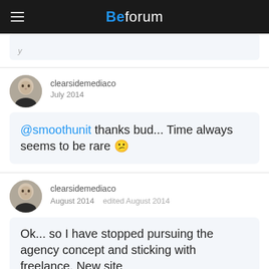Beforum
clearsidemediaco
July 2014
@smoothunit thanks bud... Time always seems to be rare 😕
clearsidemediaco
August 2014   edited August 2014
Ok... so I have stopped pursuing the agency concept and sticking with freelance. New site